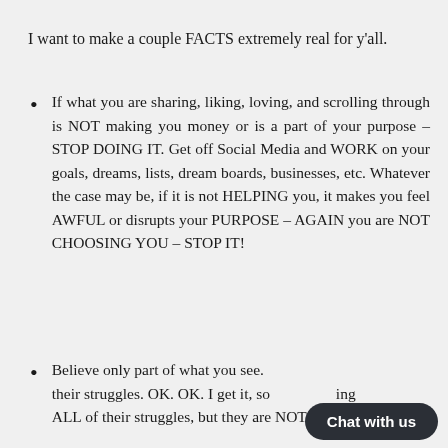I want to make a couple FACTS extremely real for y'all.
If what you are sharing, liking, loving, and scrolling through is NOT making you money or is a part of your purpose – STOP DOING IT. Get off Social Media and WORK on your goals, dreams, lists, dream boards, businesses, etc. Whatever the case may be, if it is not HELPING you, it makes you feel AWFUL or disrupts your PURPOSE – AGAIN you are NOT CHOOSING YOU – STOP IT!
Believe only part of what you see. [obscured] their struggles. OK. OK. I get it, so[obscured]ing ALL of their struggles, but they are NOT the ones I am [continues]